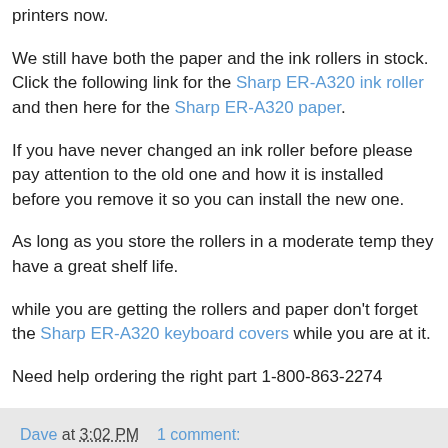printers now.
We still have both the paper and the ink rollers in stock. Click the following link for the Sharp ER-A320 ink roller and then here for the Sharp ER-A320 paper.
If you have never changed an ink roller before please pay attention to the old one and how it is installed before you remove it so you can install the new one.
As long as you store the rollers in a moderate temp they have a great shelf life.
while you are getting the rollers and paper don't forget the Sharp ER-A320 keyboard covers while you are at it.
Need help ordering the right part 1-800-863-2274
Dave at 3:02 PM   1 comment:
Thursday, May 16, 2013